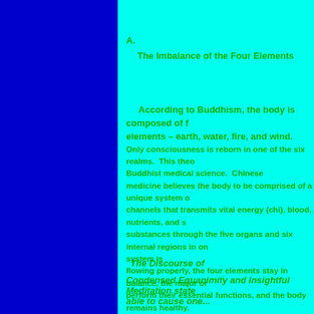A.
The Imbalance of the Four Elements
According to Buddhism, the body is composed of four elements – earth, water, fire, and wind. Only consciousness is reborn in one of the six realms. This theory is Buddhist medical science. Chinese medicine believes the body to be comprised of a unique system of channels that transmits vital energy (chi), blood, nutrients, and substances through the five organs and six internal regions in order the system is flowing properly, the four elements stay in balance, the major organs perform their essential functions, and the body remains healthy.
The Discourse of Condensed Equanimity and Insightful Meditation state...able to cause one...